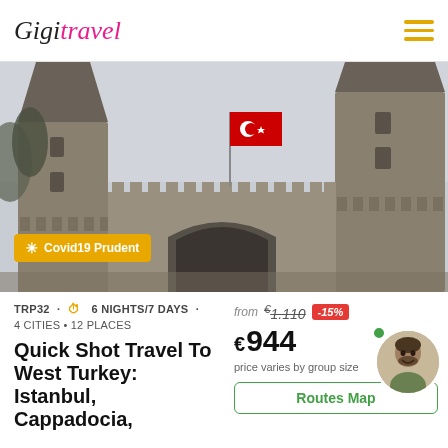Gigit travel
[Figure (photo): Topkapi Palace gate in Istanbul, Turkey, with two stone towers and a red Turkish flag flying between them. Grey cloudy sky in background. Trees visible on the left side.]
Covid19 Prudent
TRP32 · 6 NIGHTS/7 DAYS · 4 CITIES · 12 PLACES
Quick Shot Travel To West Turkey: Istanbul, Cappadocia,
from €1.110 -15%
€944 price varies by group size
Routes Map